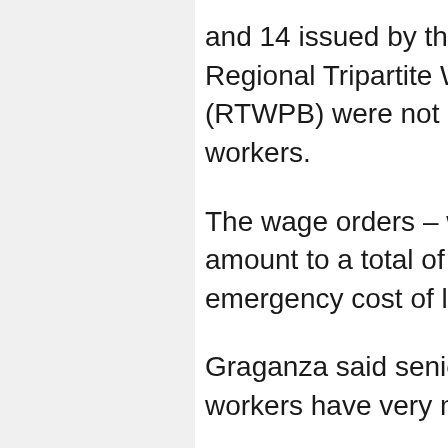and 14 issued by the National Capital Region's Regional Tripartite Wages and Productivity Board (RTWPB) were not applied to most of the workers.
The wage orders – with the first issued in 2004 – amount to a total of P152 ($3.16) inclusive of the emergency cost of living allowance.
Graganza said senior workers and newly hired workers have very minimal wage